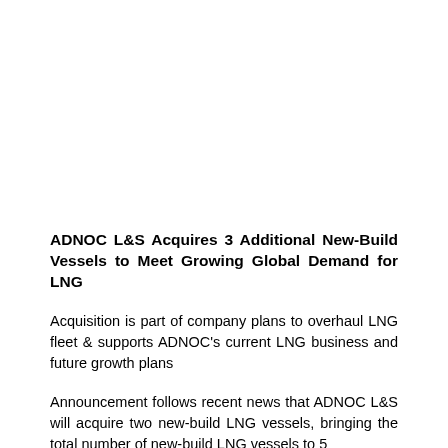ADNOC L&S Acquires 3 Additional New-Build Vessels to Meet Growing Global Demand for LNG
Acquisition is part of company plans to overhaul LNG fleet & supports ADNOC's current LNG business and future growth plans
Announcement follows recent news that ADNOC L&S will acquire two new-build LNG vessels, bringing the total number of new-build LNG vessels to 5